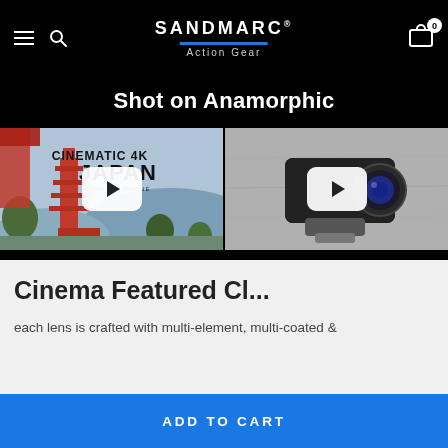SANDMARC Action Gear
Shot on Anamorphic
[Figure (screenshot): Video thumbnail of cinematic 4K Japan footage with play button overlay]
[Figure (screenshot): Video thumbnail of SANDMARC anamorphic lens product with play button overlay]
Cinema Featured Cl...
each lens is crafted with multi-element, multi-coated &
ADD TO CART